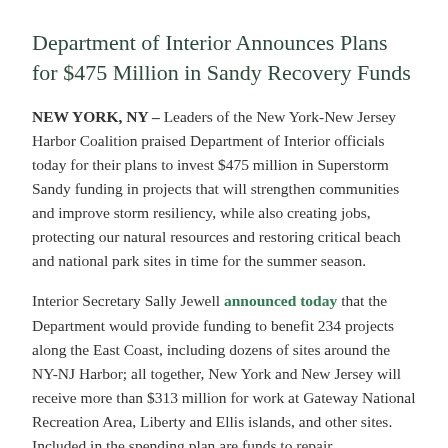Department of Interior Announces Plans for $475 Million in Sandy Recovery Funds
NEW YORK, NY – Leaders of the New York-New Jersey Harbor Coalition praised Department of Interior officials today for their plans to invest $475 million in Superstorm Sandy funding in projects that will strengthen communities and improve storm resiliency, while also creating jobs, protecting our natural resources and restoring critical beach and national park sites in time for the summer season.
Interior Secretary Sally Jewell announced today that the Department would provide funding to benefit 234 projects along the East Coast, including dozens of sites around the NY-NJ Harbor; all together, New York and New Jersey will receive more than $313 million for work at Gateway National Recreation Area, Liberty and Ellis islands, and other sites. Included in the spending plan are funds to repair